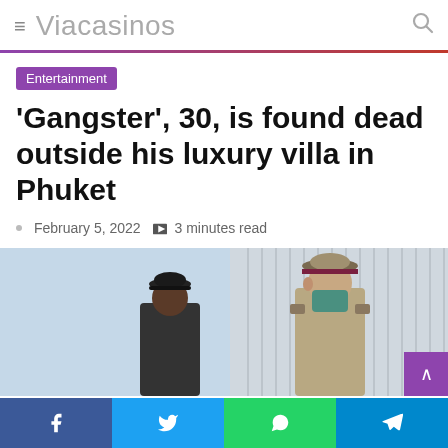≡ Viacasinos 🔍
Entertainment
'Gangster', 30, is found dead outside his luxury villa in Phuket
February 5, 2022  3 minutes read
[Figure (photo): Two people viewed from behind, one wearing a police/military cap and tan uniform, another in dark clothing with a mask, standing outdoors near a corrugated metal wall.]
Facebook | Twitter | WhatsApp | Telegram